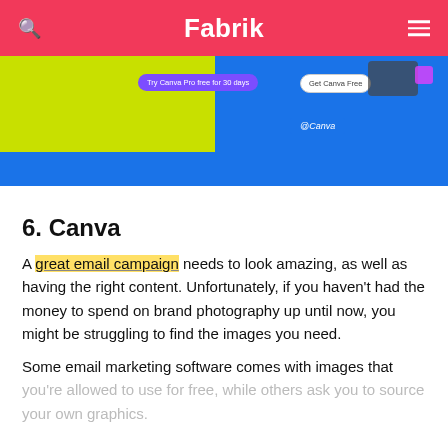Fabrik
[Figure (screenshot): Canva website screenshot showing the Canva homepage with yellow and blue color blocks, 'Try Canva Pro free for 30 days' purple button, 'Get Canva Free' white button, and @Canva label.]
6. Canva
A great email campaign needs to look amazing, as well as having the right content. Unfortunately, if you haven't had the money to spend on brand photography up until now, you might be struggling to find the images you need.
Some email marketing software comes with images that you're allowed to use for free, while others ask you to source your own graphics.